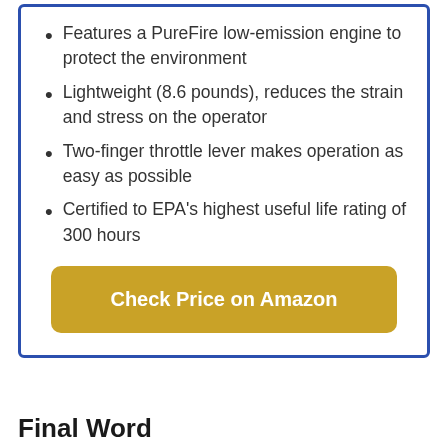Features a PureFire low-emission engine to protect the environment
Lightweight (8.6 pounds), reduces the strain and stress on the operator
Two-finger throttle lever makes operation as easy as possible
Certified to EPA's highest useful life rating of 300 hours
Check Price on Amazon
Final Word